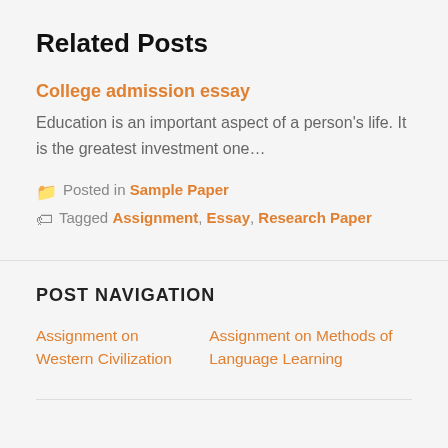Related Posts
College admission essay
Education is an important aspect of a person's life. It is the greatest investment one…
Posted in Sample Paper
Tagged Assignment, Essay, Research Paper
POST NAVIGATION
Assignment on Western Civilization
Assignment on Methods of Language Learning